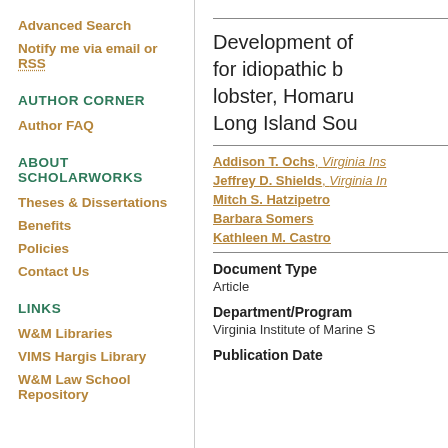Advanced Search
Notify me via email or RSS
AUTHOR CORNER
Author FAQ
ABOUT SCHOLARWORKS
Theses & Dissertations
Benefits
Policies
Contact Us
LINKS
W&M Libraries
VIMS Hargis Library
W&M Law School Repository
Development of for idiopathic b lobster, Homaru Long Island Sou
Addison T. Ochs, Virginia Ins Jeffrey D. Shields, Virginia In Mitch S. Hatzipetro Barbara Somers Kathleen M. Castro
Document Type
Article
Department/Program
Virginia Institute of Marine S
Publication Date